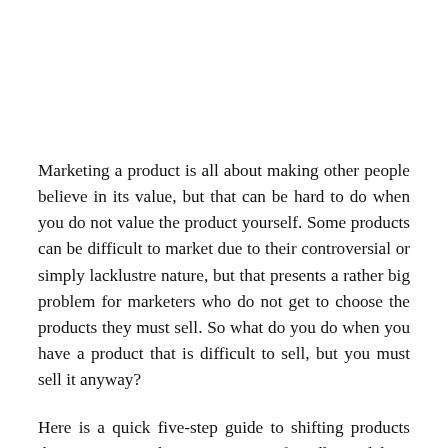Marketing a product is all about making other people believe in its value, but that can be hard to do when you do not value the product yourself. Some products can be difficult to market due to their controversial or simply lacklustre nature, but that presents a rather big problem for marketers who do not get to choose the products they must sell. So what do you do when you have a product that is difficult to sell, but you must sell it anyway?
Here is a quick five-step guide to shifting products that are not marketing campaign-friendly, and how even the most problematic of products can still be a hit if you spin them right.